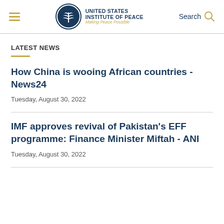United States Institute of Peace — Making Peace Possible | Search
LATEST NEWS
How China is wooing African countries - News24
Tuesday, August 30, 2022
IMF approves revival of Pakistan's EFF programme: Finance Minister Miftah - ANI
Tuesday, August 30, 2022